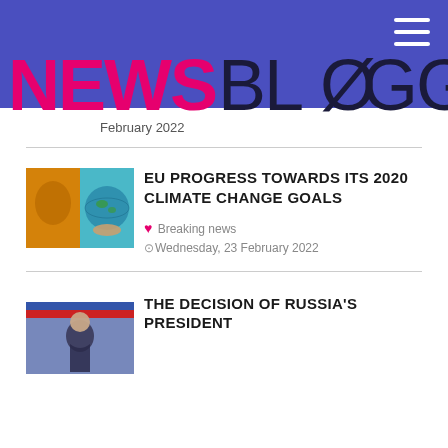NEWS BLOGGING
February 2022
EU PROGRESS TOWARDS ITS 2020 CLIMATE CHANGE GOALS
❤ Breaking news  ⏰Wednesday, 23 February 2022
THE DECISION OF RUSSIA'S PRESIDENT